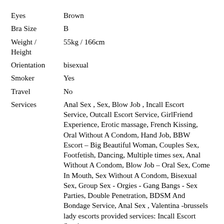|  |  |
| --- | --- |
| Eyes | Brown |
| Bra Size | B |
| Weight / Height | 55kg / 166cm |
| Orientation | bisexual |
| Smoker | Yes |
| Travel | No |
| Services | Anal Sex , Sex, Blow Job , Incall Escort Service, Outcall Escort Service, GirlFriend Experience, Erotic massage, French Kissing, Oral Without A Condom, Hand Job, BBW Escort – Big Beautiful Woman, Couples Sex, Footfetish, Dancing, Multiple times sex, Anal Without A Condom, Blow Job – Oral Sex, Come In Mouth, Sex Without A Condom, Bisexual Sex, Group Sex - Orgies - Gang Bangs - Sex Parties, Double Penetration, BDSM And Bondage Service, Anal Sex , Valentina -brussels lady escorts provided services: Incall Escort Service, |
Rates
| Time | Incall | Outcall |
| --- | --- | --- |
| 1 hour | 700 EUR | 800 EUR |